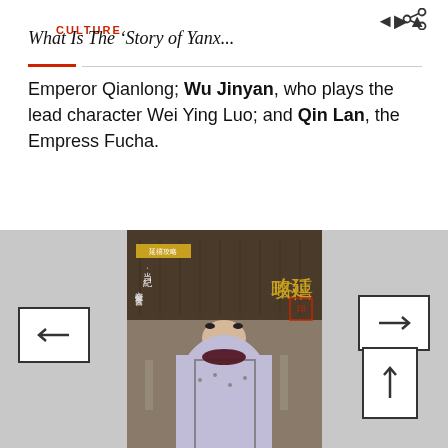CULTURE
What Is The ‘Story of Yanx...
Emperor Qianlong; Wu Jinyan, who plays the lead character Wei Ying Luo; and Qin Lan, the Empress Fucha.
[Figure (photo): Movie poster for Story of Yanxi Palace showing a woman in traditional Qing dynasty costume seated in an ornate palace setting, with Chinese characters and gold decorative elements]
[Figure (other): Navigation arrows: left arrow button, right arrow button, and up arrow button]